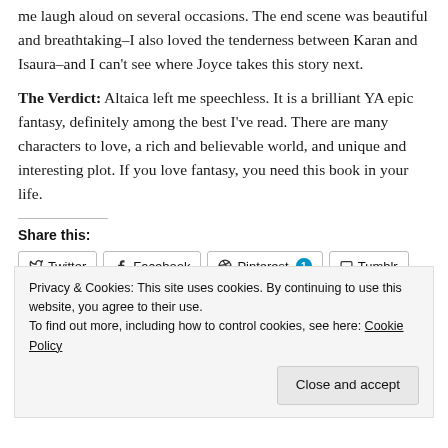me laugh aloud on several occasions. The end scene was beautiful and breathtaking–I also loved the tenderness between Karan and Isaura–and I can't see where Joyce takes this story next.
The Verdict: Altaica left me speechless. It is a brilliant YA epic fantasy, definitely among the best I've read. There are many characters to love, a rich and believable world, and unique and interesting plot. If you love fantasy, you need this book in your life.
Share this:
Twitter | Facebook | Pinterest 1 | Tumblr | Reddit
Privacy & Cookies: This site uses cookies. By continuing to use this website, you agree to their use. To find out more, including how to control cookies, see here: Cookie Policy